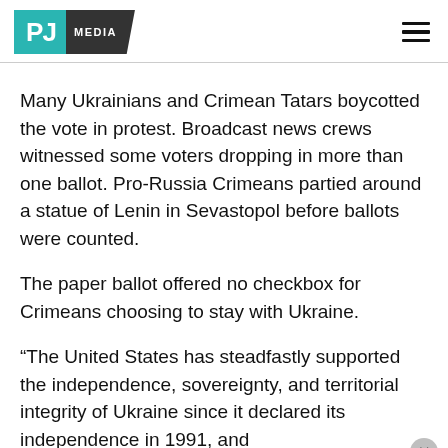PJ MEDIA
Many Ukrainians and Crimean Tatars boycotted the vote in protest. Broadcast news crews witnessed some voters dropping in more than one ballot. Pro-Russia Crimeans partied around a statue of Lenin in Sevastopol before ballots were counted.
The paper ballot offered no checkbox for Crimeans choosing to stay with Ukraine.
“The United States has steadfastly supported the independence, sovereignty, and territorial integrity of Ukraine since it declared its independence in 1991, and